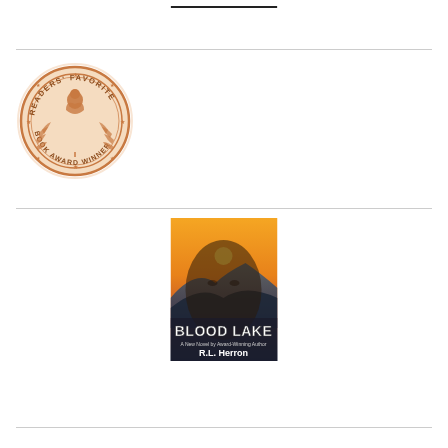[Figure (photo): Book cover partially visible at top of page, dark background]
[Figure (logo): Readers' Favorite Book Award Winner bronze medal seal]
[Figure (photo): Book cover for 'Blood Lake - A New Novel by Award-Winning Author R.L. Herron', showing a sunset over mountains with a man's face overlaid]